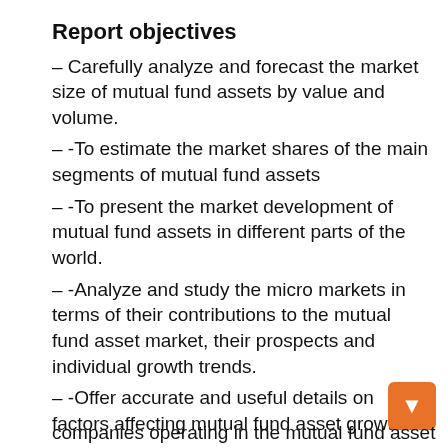Report objectives
– Carefully analyze and forecast the market size of mutual fund assets by value and volume.
– -To estimate the market shares of the main segments of mutual fund assets
– -To present the market development of mutual fund assets in different parts of the world.
– -Analyze and study the micro markets in terms of their contributions to the mutual fund asset market, their prospects and individual growth trends.
– -Offer accurate and useful details on factors affecting mutual fund asset growth
– -Provide a meticulous assessment of crucial business strategies employed by leading companies operating in the mutual fund asset...